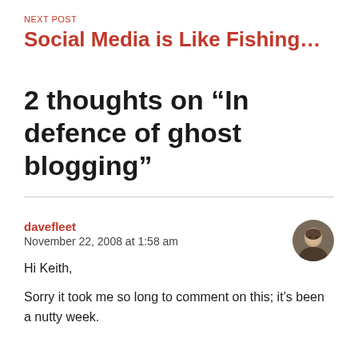NEXT POST
Social Media is Like Fishing...
2 thoughts on “In defence of ghost blogging”
davefleet
November 22, 2008 at 1:58 am
Hi Keith,

Sorry it took me so long to comment on this; it’s been a nutty week.